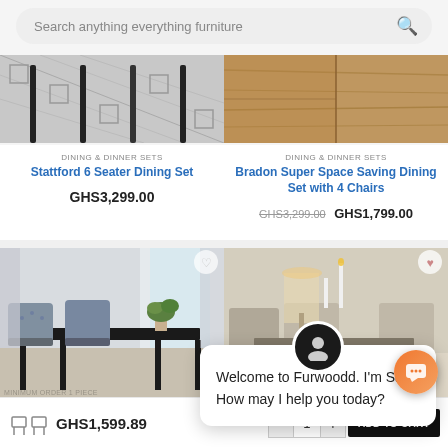Search anything everything furniture
DINING & DINNER SETS
Stattford 6 Seater Dining Set
GHS3,299.00
DINING & DINNER SETS
Bradon Super Space Saving Dining Set with 4 Chairs
GHS3,299.00  GHS1,799.00
[Figure (photo): Dining set product photo - black geometric patterned rug with dark chair legs]
[Figure (photo): Dining set product photo - wooden sideboard/cabinet in warm brown tones]
[Figure (photo): Dining room photo - dark table with tufted grey chairs, plants, large windows]
[Figure (photo): Dining room photo - elegant room with candles, lamps, upholstered chairs]
Welcome to Furwoodd. I'm Sally. How may I help you today?
GHS1,599.89
ADD TO CART